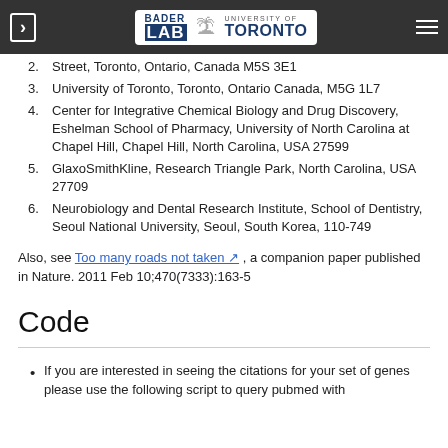Bader Lab – University of Toronto (navigation header)
Street, Toronto, Ontario, Canada M5S 3E1
2. University of Toronto, Toronto, Ontario Canada, M5G 1L7
3. Center for Integrative Chemical Biology and Drug Discovery, Eshelman School of Pharmacy, University of North Carolina at Chapel Hill, Chapel Hill, North Carolina, USA 27599
4. GlaxoSmithKline, Research Triangle Park, North Carolina, USA 27709
5. Neurobiology and Dental Research Institute, School of Dentistry, Seoul National University, Seoul, South Korea, 110-749
Also, see Too many roads not taken , a companion paper published in Nature. 2011 Feb 10;470(7333):163-5
Code
If you are interested in seeing the citations for your set of genes please use the following script to query pubmed with